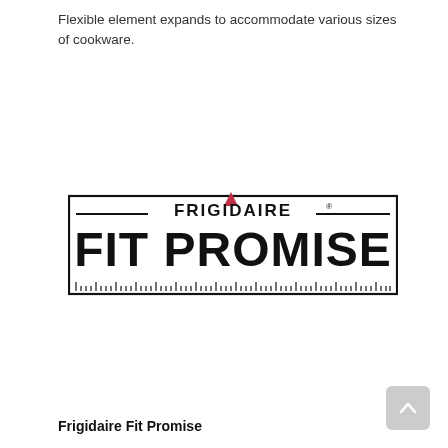Flexible element expands to accommodate various sizes of cookware.
[Figure (logo): Frigidaire Fit Promise logo — rectangular border with ruler tick marks along the bottom, 'FRIGIDAIRE' in small caps with a red triangle above the 'A', and 'FIT PROMISE' in large bold text below]
Frigidaire Fit Promise